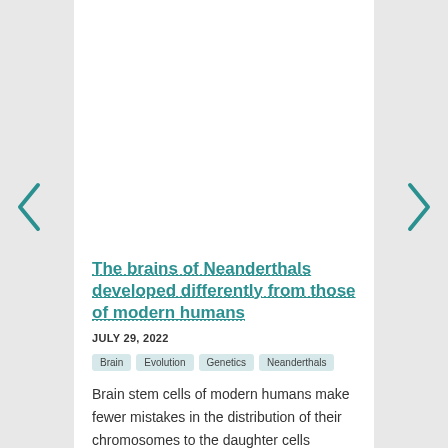The brains of Neanderthals developed differently from those of modern humans
JULY 29, 2022
Brain  Evolution  Genetics  Neanderthals
Brain stem cells of modern humans make fewer mistakes in the distribution of their chromosomes to the daughter cells